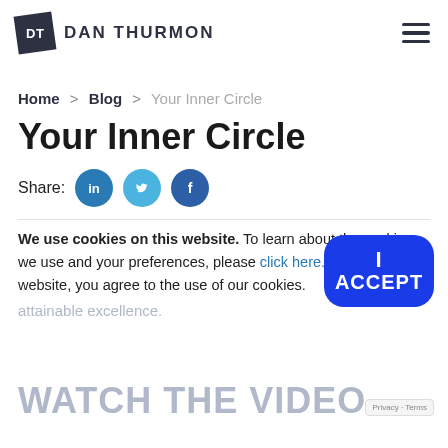DT DAN THURMON
Home > Blog > Your Inner Circle
Your Inner Circle
Share:
Are your closest friends reflecting your highest qualities? This week's video will help you reshape your inner circle and expand attainable excellence.
We use cookies on this website. To learn about the cookies we use and your preferences, please click here. By using our website, you agree to the use of our cookies.
WATCH THE VIDEO.